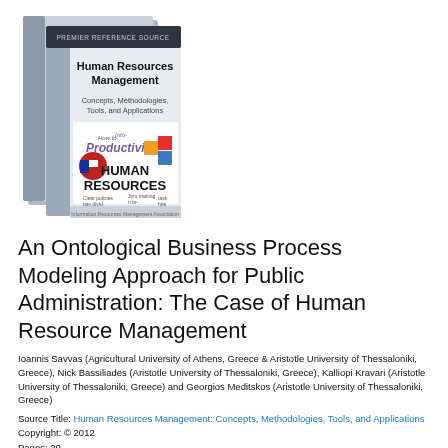[Figure (illustration): Book cover image showing two stacked volumes titled 'Human Resources Management: Concepts, Methodologies, Tools, and Applications' with Premier Reference Source label, showing a word cloud with terms like Productivity, Human Resources, training, pay, policies]
An Ontological Business Process Modeling Approach for Public Administration: The Case of Human Resource Management
Ioannis Savvas (Agricultural University of Athens, Greece & Aristotle University of Thessaloniki, Greece), Nick Bassiliades (Aristotle University of Thessaloniki, Greece), Kalliopi Kravari (Aristotle University of Thessaloniki, Greece) and Georgios Meditskos (Aristotle University of Thessaloniki, Greece)
Source Title: Human Resources Management: Concepts, Methodologies, Tools, and Applications
Copyright: © 2012
Pages: 29